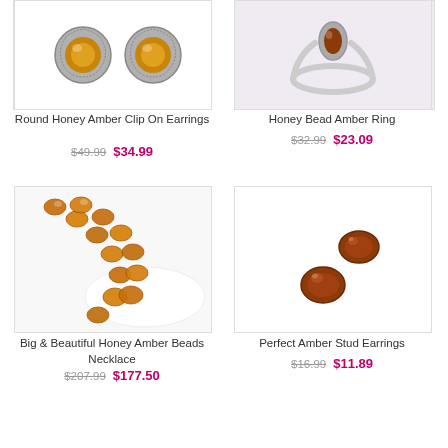[Figure (photo): Round Honey Amber Clip On Earrings - silver filigree with amber center stones]
Round Honey Amber Clip On Earrings
$49.99  $34.99
[Figure (photo): Honey Bead Amber Ring - silver ring with oval amber stone]
Honey Bead Amber Ring
$32.99  $23.09
[Figure (photo): Big & Beautiful Honey Amber Beads Necklace - amber bead strand necklace on white fabric]
Big & Beautiful Honey Amber Beads Necklace
[Figure (photo): Perfect Amber Stud Earrings - two oval amber stud earrings]
Perfect Amber Stud Earrings
$16.99  $11.89